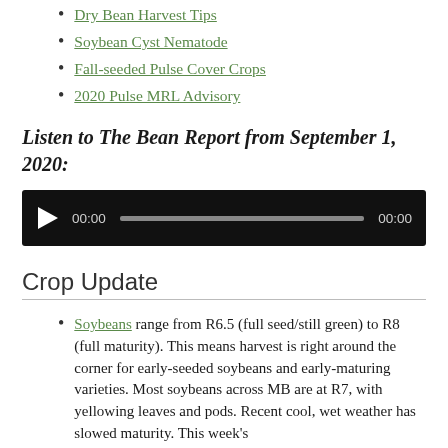Dry Bean Harvest Tips
Soybean Cyst Nematode
Fall-seeded Pulse Cover Crops
2020 Pulse MRL Advisory
Listen to The Bean Report from September 1, 2020:
[Figure (other): Audio player widget with play button, time display showing 00:00, progress bar, and duration 00:00 on dark background]
Crop Update
Soybeans range from R6.5 (full seed/still green) to R8 (full maturity). This means harvest is right around the corner for early-seeded soybeans and early-maturing varieties. Most soybeans across MB are at R7, with yellowing leaves and pods. Recent cool, wet weather has slowed maturity. This week's